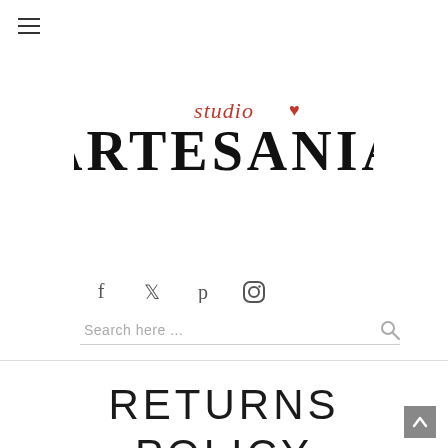[Figure (logo): Artesania Studio logo with stylized serif text 'ARTESANIA' in black and cursive 'studio' with a heart in red above]
[Figure (infographic): Social media icons row: Facebook, Twitter, Pinterest, Instagram]
Search here ...
RETURNS POLICY